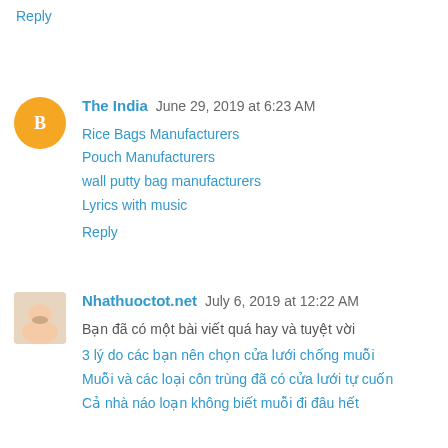PPG company in Chandigarh
Reply
The India  June 29, 2019 at 6:23 AM
Rice Bags Manufacturers
Pouch Manufacturers
wall putty bag manufacturers
Lyrics with music
Reply
Nhathuoctot.net  July 6, 2019 at 12:22 AM
Bạn đã có một bài viết quá hay và tuyệt vời
3 lý do các bạn nên chọn cửa lưới chống muỗi
Muỗi và các loại côn trùng đã có cửa lưới tự cuốn
Cả nhà náo loạn không biết muỗi đi đâu hết